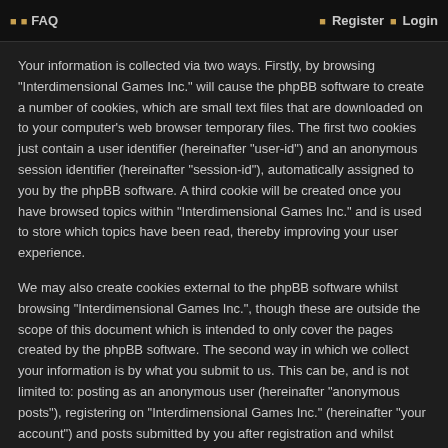FAQ  Register  Login
Your information is collected via two ways. Firstly, by browsing “Interdimensional Games Inc.” will cause the phpBB software to create a number of cookies, which are small text files that are downloaded on to your computer’s web browser temporary files. The first two cookies just contain a user identifier (hereinafter “user-id”) and an anonymous session identifier (hereinafter “session-id”), automatically assigned to you by the phpBB software. A third cookie will be created once you have browsed topics within “Interdimensional Games Inc.” and is used to store which topics have been read, thereby improving your user experience.
We may also create cookies external to the phpBB software whilst browsing “Interdimensional Games Inc.”, though these are outside the scope of this document which is intended to only cover the pages created by the phpBB software. The second way in which we collect your information is by what you submit to us. This can be, and is not limited to: posting as an anonymous user (hereinafter “anonymous posts”), registering on “Interdimensional Games Inc.” (hereinafter “your account”) and posts submitted by you after registration and whilst logged in (hereinafter “your posts”).
Your account will at a bare minimum contain a uniquely identifiable name (hereinafter “your user name”), a personal password used for logging into your account (hereinafter “your password”) and a personal, valid email address (hereinafter “your email”). Your information for your account at “Interdimensional Games Inc.” is protected by data protection laws applicable